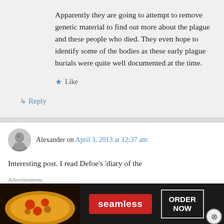Apparently they are going to attempt to remove genetic material to find out more about the plague and these people who died. They even hope to identify some of the bodies as these early plague burials were quite well documented at the time.
★ Like
↳ Reply
Alexander on April 3, 2013 at 12:37 am
Interesting post. I read Defoe's 'diary of the
[Figure (other): Seamless food delivery advertisement banner with pizza image, Seamless red button, and ORDER NOW button]
Advertisements